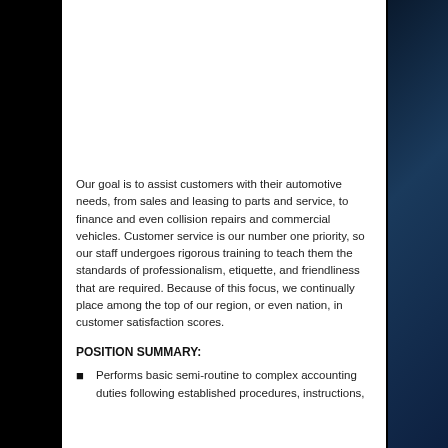Our goal is to assist customers with their automotive needs, from sales and leasing to parts and service, to finance and even collision repairs and commercial vehicles. Customer service is our number one priority, so our staff undergoes rigorous training to teach them the standards of professionalism, etiquette, and friendliness that are required. Because of this focus, we continually place among the top of our region, or even nation, in customer satisfaction scores.
POSITION SUMMARY:
Performs basic semi-routine to complex accounting duties following established procedures, instructions,